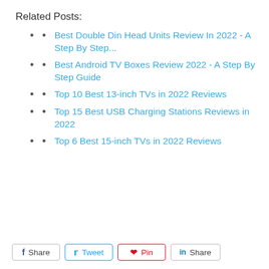Related Posts:
Best Double Din Head Units Review In 2022 - A Step By Step...
Best Android TV Boxes Review 2022 - A Step By Step Guide
Top 10 Best 13-inch TVs in 2022 Reviews
Top 15 Best USB Charging Stations Reviews in 2022
Top 6 Best 15-inch TVs in 2022 Reviews
f Share  Tweet  Pin  in Share